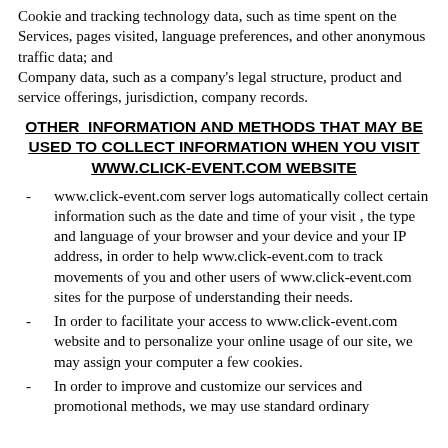Cookie and tracking technology data, such as time spent on the Services, pages visited, language preferences, and other anonymous traffic data; and
Company data, such as a company's legal structure, product and service offerings, jurisdiction, company records.
OTHER INFORMATION AND METHODS THAT MAY BE USED TO COLLECT INFORMATION WHEN YOU VISIT WWW.CLICK-EVENT.COM WEBSITE
www.click-event.com server logs automatically collect certain information such as the date and time of your visit , the type and language of your browser and your device and your IP address, in order to help www.click-event.com to track movements of you and other users of www.click-event.com sites for the purpose of understanding their needs.
In order to facilitate your access to www.click-event.com website and to personalize your online usage of our site, we may assign your computer a few cookies.
In order to improve and customize our services and promotional methods, we may use standard ordinary